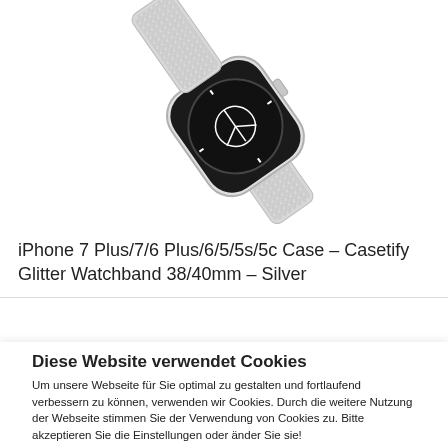[Figure (photo): Product photo of an Apple Watch with a silver glitter watchband, shown at an angle against a white background.]
iPhone 7 Plus/7/6 Plus/6/5/5s/5c Case – Casetify Glitter Watchband 38/40mm – Silver
Diese Website verwendet Cookies
Um unsere Webseite für Sie optimal zu gestalten und fortlaufend verbessern zu können, verwenden wir Cookies. Durch die weitere Nutzung der Webseite stimmen Sie der Verwendung von Cookies zu. Bitte akzeptieren Sie die Einstellungen oder änder Sie sie!
Einstellungen
Akzeptieren